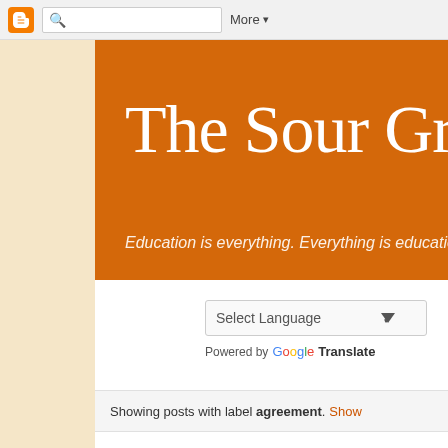Blogger top navigation bar with search and More button
The Sour Gra
Education is everything. Everything is education.
Select Language — Powered by Google Translate
Showing posts with label agreement. Show
Thursday, 28 December 2017
What Is English Grammar? More Impo Isn't English Grammar?